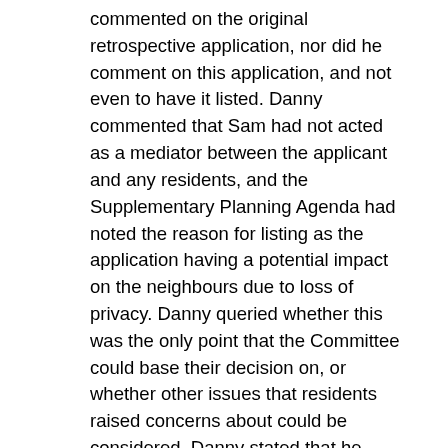commented on the original retrospective application, nor did he comment on this application, and not even to have it listed. Danny commented that Sam had not acted as a mediator between the applicant and any residents, and the Supplementary Planning Agenda had noted the reason for listing as the application having a potential impact on the neighbours due to loss of privacy. Danny queried whether this was the only point that the Committee could base their decision on, or whether other issues that residents raised concerns about could be considered. Danny stated that he objected to the application based on persistent breaches and [continues below]